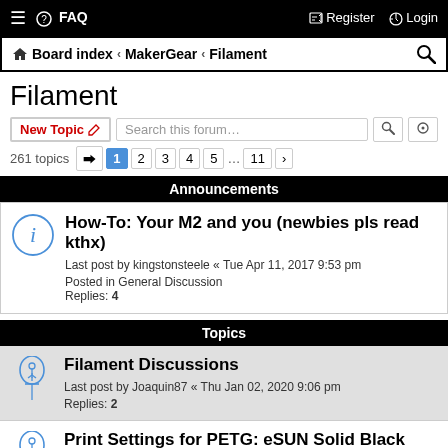≡ ❓ FAQ | Register Login
Board index ‹ MakerGear ‹ Filament
Filament
New Topic | Search this forum...
261 topics | 1 2 3 4 5 ... 11
Announcements
How-To: Your M2 and you (newbies pls read kthx)
Last post by kingstonsteele « Tue Apr 11, 2017 9:53 pm
Posted in General Discussion
Replies: 4
Topics
Filament Discussions
Last post by Joaquin87 « Thu Jan 02, 2020 9:06 pm
Replies: 2
Print Settings for PETG: eSUN Solid Black Filament
Last post by kvcaner « Tue Aug 06, 2019 3:27 pm
Replies: 183